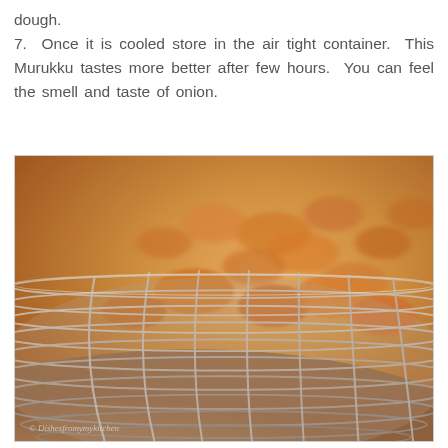dough.
7.  Once it is cooled store in the air tight container.  This Murukku tastes more better after few hours.  You can feel the smell and taste of onion.
[Figure (photo): A wire metal basket filled with Murukku (Indian snack) pieces, photographed from a close-up angle showing the wire grid pattern and orange-golden fried snacks inside. Watermark reads '© Dishesfromymykitchen' at the bottom left.]